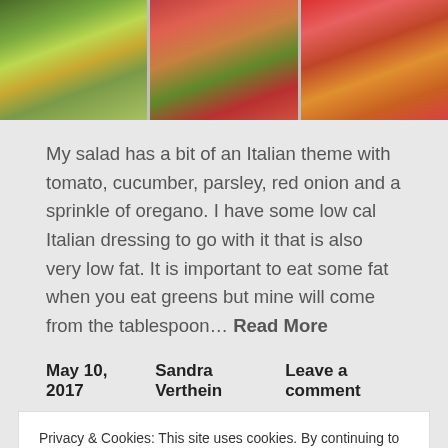[Figure (photo): Three containers of salads and fruits side by side: broccoli salad, chickpea/tomato salad, strawberry/fruit salad]
My salad has a bit of an Italian theme with tomato, cucumber, parsley, red onion and a sprinkle of oregano. I have some low cal Italian dressing to go with it that is also very low fat. It is important to eat some fat when you eat greens but mine will come from the tablespoon… Read More
May 10, 2017    Sandra Verthein    Leave a comment
Privacy & Cookies: This site uses cookies. By continuing to use this website, you agree to their use.
To find out more, including how to control cookies, see here: Cookie Policy
Close and accept